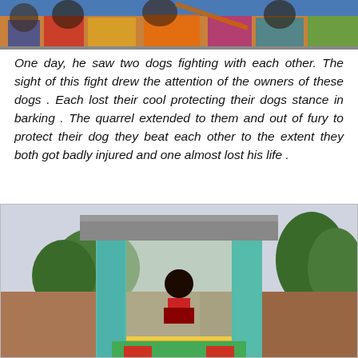[Figure (photo): Top photo showing people in colorful attire at what appears to be a cultural event or festival, cropped at top of page]
One day, he saw two dogs fighting with each other. The sight of this fight drew the attention of the owners of these dogs . Each lost their cool protecting their dogs stance in barking . The quarrel extended to them and out of fury to protect their dog they beat each other to the extent they both got badly injured and one almost lost his life .
[Figure (photo): Photo of a temple or shrine structure with teal/green pillars and a deity figure seated inside, surrounded by trees and a brick wall in the background]